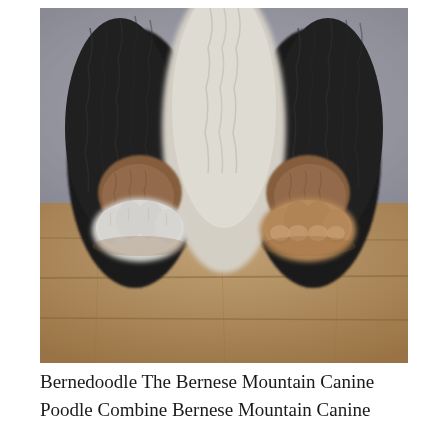[Figure (photo): Close-up photo of a Bernedoodle puppy showing its fluffy black, white, and brown/tan fur, with two front paws resting on a wooden floor surface. The puppy has characteristic Bernese Mountain Dog coloring with a white stripe down the middle of its chest and tan markings on its legs.]
Bernedoodle The Bernese Mountain Canine Poodle Combine Bernese Mountain Canine